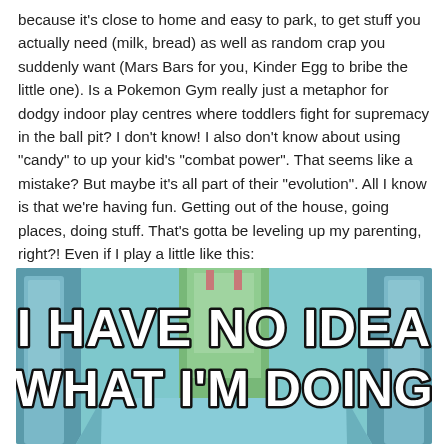because it's close to home and easy to park, to get stuff you actually need (milk, bread) as well as random crap you suddenly want (Mars Bars for you, Kinder Egg to bribe the little one). Is a Pokemon Gym really just a metaphor for dodgy indoor play centres where toddlers fight for supremacy in the ball pit? I don't know! I also don't know about using "candy" to up your kid's "combat power". That seems like a mistake? But maybe it's all part of their "evolution". All I know is that we're having fun. Getting out of the house, going places, doing stuff. That's gotta be leveling up my parenting, right?! Even if I play a little like this:
[Figure (photo): Meme image with cartoon background (resembling a scene from SpongeBob SquarePants) showing architectural/interior elements in teal and green tones. Large white bold text with black outline reads: 'I HAVE NO IDEA WHAT I'M DOING']